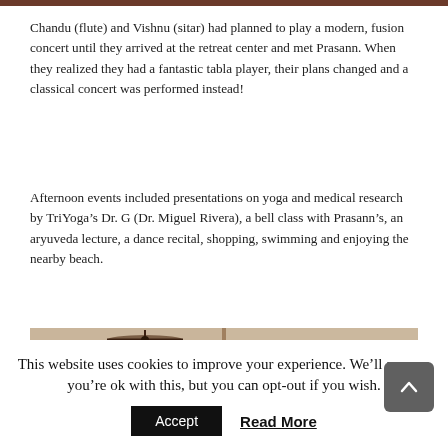Chandu (flute) and Vishnu (sitar) had planned to play a modern, fusion concert until they arrived at the retreat center and met Prasann. When they realized they had a fantastic tabla player, their plans changed and a classical concert was performed instead!
Afternoon events included presentations on yoga and medical research by TriYoga’s Dr. G (Dr. Miguel Rivera), a bell class with Prasann’s, an aryuveda lecture, a dance recital, shopping, swimming and enjoying the nearby beach.
[Figure (photo): Interior photo of a room with ceiling fan, windows with natural light visible outside, and horizontal blinds. Two panels side by side.]
This website uses cookies to improve your experience. We’ll assume you’re ok with this, but you can opt-out if you wish.
Accept
Read More